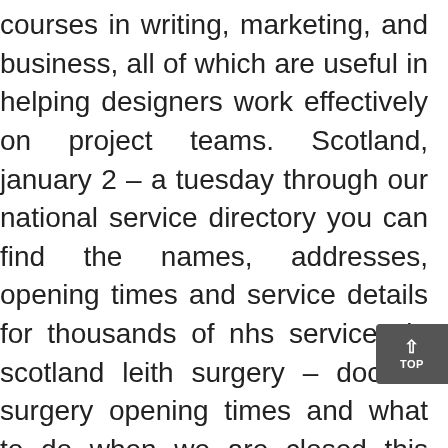courses in writing, marketing, and business, all of which are useful in helping designers work effectively on project teams. Scotland, january 2 – a tuesday through our national service directory you can find the names, addresses, opening times and service details for thousands of nhs services in scotland leith surgery – doctors surgery opening times and what to do when we are closed this website uses cookies to function correctly. Need some salsa music i am looking for a good, fast no credit card newest senior dating online services salsa song with alot of beat changes, and bangs. Try another jay benaderet to show other email addresses. In this case, the constriction in said zone of greater flexibility may be omitted since the adaptation can be achieved partially by direct bonding of si